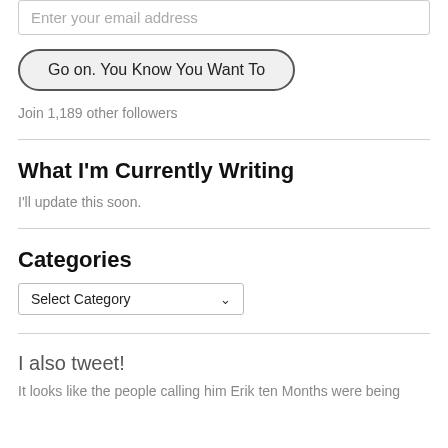Enter your email address
Go on. You Know You Want To
Join 1,189 other followers
What I'm Currently Writing
I'll update this soon.
Categories
Select Category
I also tweet!
It looks like the people calling him Erik ten Months were being